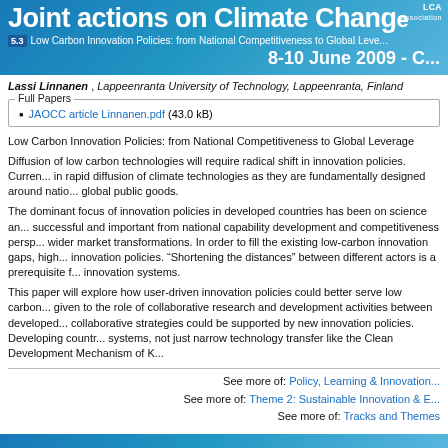Joint actions on Climate Change
5.3 Low Carbon Innovation Policies: from National Competitiveness to Global Leverage  8-10 June 2009 - C...
Lassi Linnanen , Lappeenranta University of Technology, Lappeenranta, Finland
Full Papers
JAOCC article Linnanen.pdf (43.0 kB)
Low Carbon Innovation Policies: from National Competitiveness to Global Leverage
Diffusion of low carbon technologies will require radical shift in innovation policies. Current... in rapid diffusion of climate technologies as they are fundamentally designed around natio... global public goods.
The dominant focus of innovation policies in developed countries has been on science an... successful and important from national capability development and competitiveness persp... wider market transformations. In order to fill the existing low-carbon innovation gaps, high... innovation policies. "Shortening the distances" between different actors is a prerequisite f... innovation systems.
This paper will explore how user-driven innovation policies could better serve low carbon... given to the role of collaborative research and development activities between developed... collaborative strategies could be supported by new innovation policies. Developing countr... systems, not just narrow technology transfer like the Clean Development Mechanism of K...
See more of: Policy, Learning & Innovation...
See more of: Theme 2: Sustainable Innovation & E...
See more of: Tracks and Themes
<< Previous Abstract | Next Abstract >>